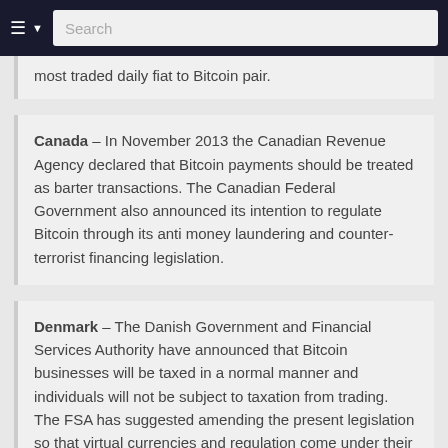Search
most traded daily fiat to Bitcoin pair.
Canada – In November 2013 the Canadian Revenue Agency declared that Bitcoin payments should be treated as barter transactions. The Canadian Federal Government also announced its intention to regulate Bitcoin through its anti money laundering and counter-terrorist financing legislation.
Denmark – The Danish Government and Financial Services Authority have announced that Bitcoin businesses will be taxed in a normal manner and individuals will not be subject to taxation from trading. The FSA has suggested amending the present legislation so that virtual currencies and regulation come under their remit.